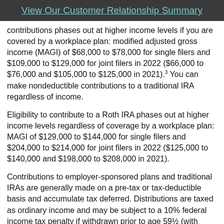View Our Customer Relationship Summary
contributions phases out at higher income levels if you are covered by a workplace plan: modified adjusted gross income (MAGI) of $68,000 to $78,000 for single filers and $109,000 to $129,000 for joint filers in 2022 ($66,000 to $76,000 and $105,000 to $125,000 in 2021).³ You can make nondeductible contributions to a traditional IRA regardless of income.
Eligibility to contribute to a Roth IRA phases out at higher income levels regardless of coverage by a workplace plan: MAGI of $129,000 to $144,000 for single filers and $204,000 to $214,000 for joint filers in 2022 ($125,000 to $140,000 and $198,000 to $208,000 in 2021).
Contributions to employer-sponsored plans and traditional IRAs are generally made on a pre-tax or tax-deductible basis and accumulate tax deferred. Distributions are taxed as ordinary income and may be subject to a 10% federal income tax penalty if withdrawn prior to age 59½ (with certain exceptions). Nondeductible contributions to a traditional IRA